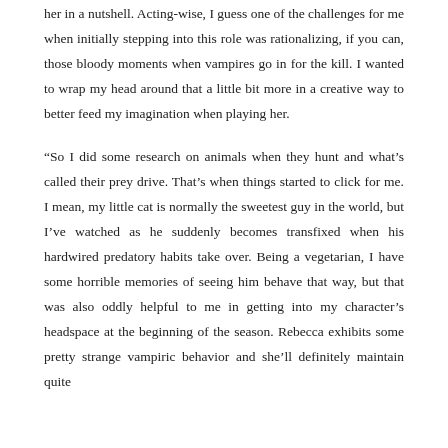her in a nutshell. Acting-wise, I guess one of the challenges for me when initially stepping into this role was rationalizing, if you can, those bloody moments when vampires go in for the kill. I wanted to wrap my head around that a little bit more in a creative way to better feed my imagination when playing her.
“So I did some research on animals when they hunt and what’s called their prey drive. That’s when things started to click for me. I mean, my little cat is normally the sweetest guy in the world, but I’ve watched as he suddenly becomes transfixed when his hardwired predatory habits take over. Being a vegetarian, I have some horrible memories of seeing him behave that way, but that was also oddly helpful to me in getting into my character’s headspace at the beginning of the season. Rebecca exhibits some pretty strange vampiric behavior and she’ll definitely maintain quite